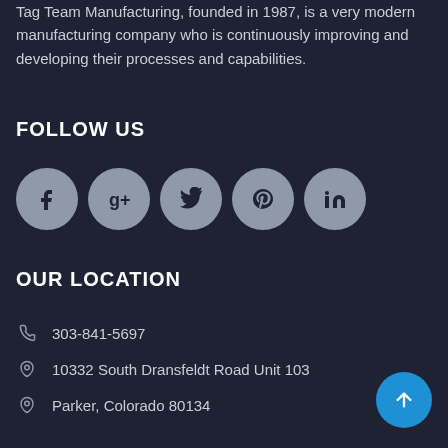Tag Team Manufacturing, founded in 1987, is a very modern manufacturing company who is continuously improving and developing their processes and capabilities.
FOLLOW US
[Figure (illustration): Row of five circular social media icon buttons (grey circles): Facebook, Google+, Twitter, Pinterest, LinkedIn]
OUR LOCATION
303-841-5697
10332 South Dransfeldt Road Unit 103
Parker, Colorado 80134